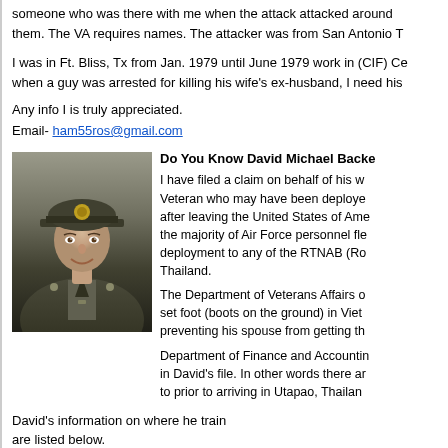someone who was there with me when the attack attacked around them. The VA requires names. The attacker was from San Antonio T
I was in Ft. Bliss, Tx from Jan. 1979 until June 1979 work in (CIF) Ce when a guy was arrested for killing his wife's ex-husband, I need his
Any info I is truly appreciated.
Email- ham55ros@gmail.com
[Figure (photo): Military portrait photo of a young man in US Air Force uniform with cap]
Do You Know David Michael Backe
I have filed a claim on behalf of his w Veteran who may have been deploye after leaving the United States of Ame the majority of Air Force personnel fle deployment to any of the RTNAB (Ro Thailand.
The Department of Veterans Affairs o set foot (boots on the ground) in Viet preventing his spouse from getting th
Department of Finance and Accountin in David's file. In other words there ar to prior to arriving in Utapao, Thailan
David's information on where he train are listed below.
8/12/1965-Basic Airmen Enlisted/3709, Lackland AFB, Texas (A